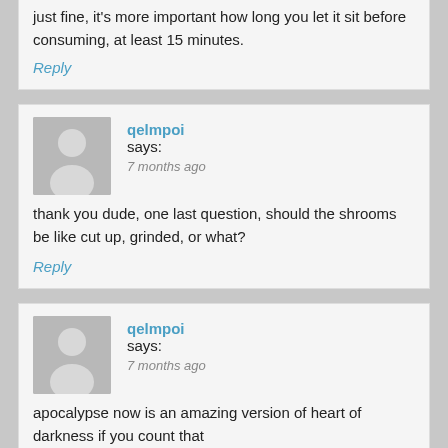just fine, it's more important how long you let it sit before consuming, at least 15 minutes.
Reply
qelmpoi says:
7 months ago
thank you dude, one last question, should the shrooms be like cut up, grinded, or what?
Reply
qelmpoi says:
7 months ago
apocalypse now is an amazing version of heart of darkness if you count that
Reply